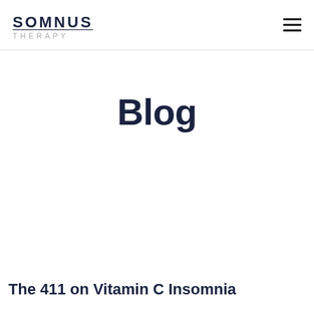SOMNUS THERAPY
Blog
The 411 on Vitamin C Insomnia